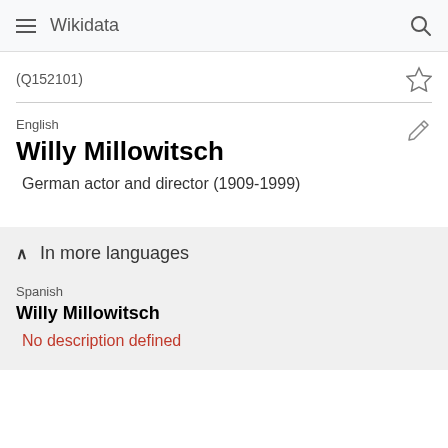Wikidata
(Q152101)
English
Willy Millowitsch
German actor and director (1909-1999)
In more languages
Spanish
Willy Millowitsch
No description defined